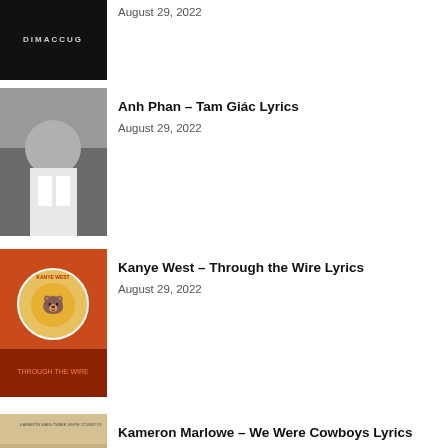August 29, 2022
Anh Phan – Tam Giác Lyrics
August 29, 2022
Kanye West – Through the Wire Lyrics
August 29, 2022
Kameron Marlowe – We Were Cowboys Lyrics
August 29, 2022
[Figure (photo): Partial thumbnail image at bottom of page]